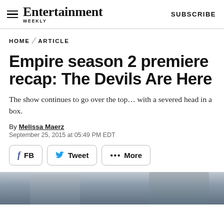Entertainment Weekly  SUBSCRIBE
HOME / ARTICLE
Empire season 2 premiere recap: The Devils Are Here
The show continues to go over the top... with a severed head in a box.
By Melissa Maerz
September 25, 2015 at 05:49 PM EDT
f FB   Tweet   ··· More
[Figure (photo): Partial photo of a person, cropped at bottom of page]